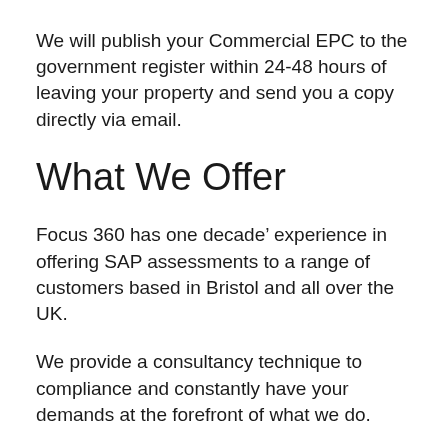We will publish your Commercial EPC to the government register within 24-48 hours of leaving your property and send you a copy directly via email.
What We Offer
Focus 360 has one decade’ experience in offering SAP assessments to a range of customers based in Bristol and all over the UK.
We provide a consultancy technique to compliance and constantly have your demands at the forefront of what we do.
When dealing with difficult developments as